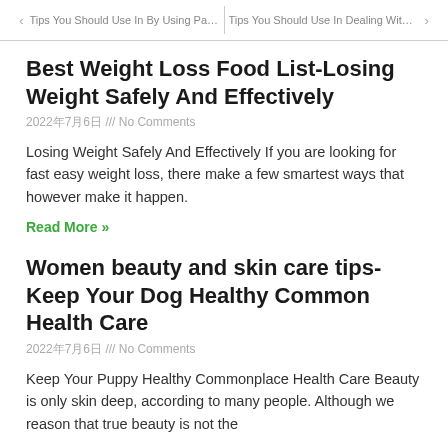Tips You Should Use In By Using Panic ... | Tips You Should Use In Dealing With Pa...
Best Weight Loss Food List-Losing Weight Safely And Effectively
2022年7月6日 /// No Comments
Losing Weight Safely And Effectively If you are looking for fast easy weight loss, there make a few smartest ways that however make it happen.
Read More »
Women beauty and skin care tips-Keep Your Dog Healthy Common Health Care
2022年7月6日 /// No Comments
Keep Your Puppy Healthy Commonplace Health Care Beauty is only skin deep, according to many people. Although we reason that true beauty is not the
Read More »